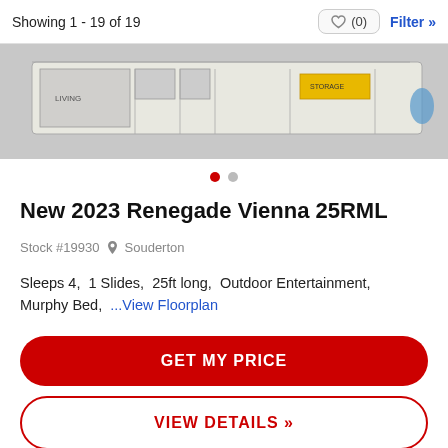Showing 1 - 19 of 19
[Figure (other): RV floor plan diagram showing layout of a trailer, partially visible]
New 2023 Renegade Vienna 25RML
Stock #19930  Souderton
Sleeps 4,  1 Slides,  25ft long,  Outdoor Entertainment,  Murphy Bed,  ...View Floorplan
GET MY PRICE
VIEW DETAILS »